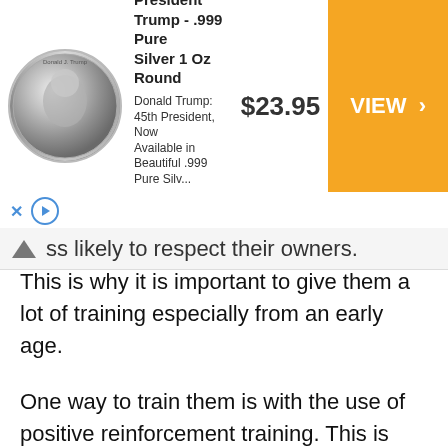[Figure (other): Advertisement banner for President Trump .999 Pure Silver 1 Oz Round coin, showing a silver coin image on the left, product title and description text in the middle, price of $23.95, and an orange VIEW button on the right. Below the ad are close (X) and play (triangle) controls.]
ss likely to respect their owners.
This is why it is important to give them a lot of training especially from an early age.
One way to train them is with the use of positive reinforcement training. This is where desired behaviors are encouraged by rewarding the German Shepherd when it shows signs of displaying them.